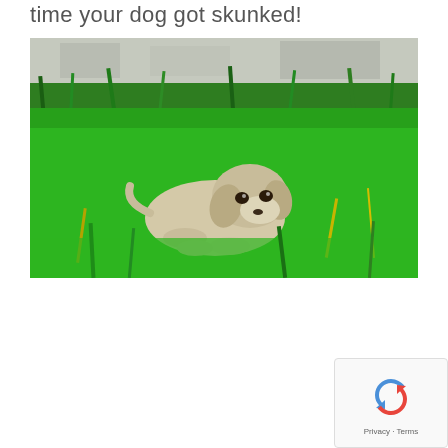time your dog got skunked!
[Figure (photo): A light-colored puppy lying low in tall green grass, with a concrete wall blurred in the background. The puppy has sad-looking eyes and its chin rests near the ground.]
[Figure (logo): reCAPTCHA widget with spinning arrows icon and 'Privacy - Terms' text]